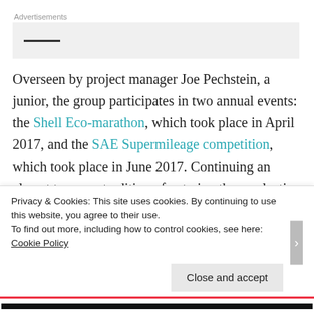Advertisements
Overseen by project manager Joe Pechstein, a junior, the group participates in two annual events: the Shell Eco-marathon, which took place in April 2017, and the SAE Supermileage competition, which took place in June 2017. Continuing an almost ten-year tradition of entering these selective competitions, Pechstein supervises the building of
Privacy & Cookies: This site uses cookies. By continuing to use this website, you agree to their use.
To find out more, including how to control cookies, see here: Cookie Policy